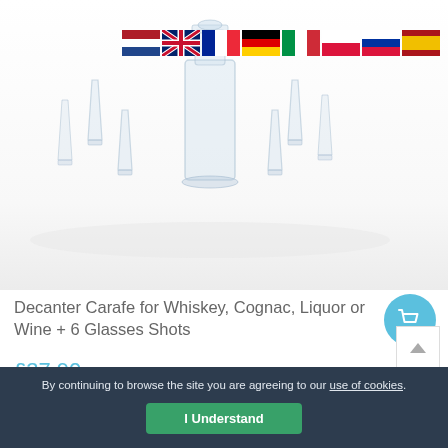[Figure (photo): Product photo showing a glass decanter/carafe with 6 shot glasses arranged around it, all glassware on white reflective surface. Row of country flags (Netherlands, UK, France, Germany, Italy, Poland, Russia, Spain) visible in upper right corner.]
Decanter Carafe for Whiskey, Cognac, Liquor or Wine + 6 Glasses Shots
£37.90
By continuing to browse the site you are agreeing to our use of cookies.
I Understand